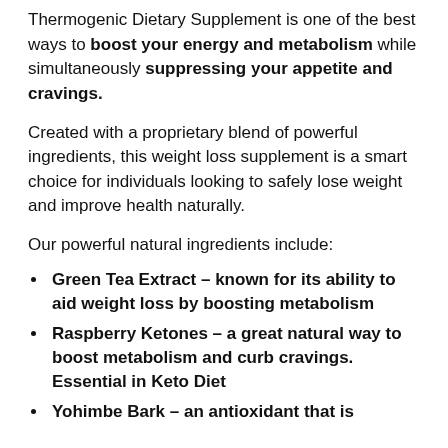Thermogenic Dietary Supplement is one of the best ways to boost your energy and metabolism while simultaneously suppressing your appetite and cravings.
Created with a proprietary blend of powerful ingredients, this weight loss supplement is a smart choice for individuals looking to safely lose weight and improve health naturally.
Our powerful natural ingredients include:
Green Tea Extract – known for its ability to aid weight loss by boosting metabolism
Raspberry Ketones – a great natural way to boost metabolism and curb cravings. Essential in Keto Diet
Yohimbe Bark – an antioxidant that is